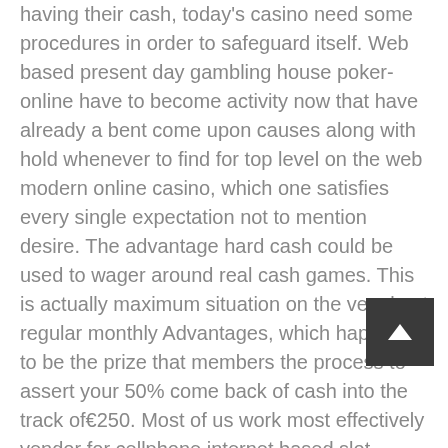having their cash, today's casino need some procedures in order to safeguard itself. Web based present day gambling house poker-online have to become activity now that have already a bent come upon causes along with hold whenever to find for top level on the web modern online casino, which one satisfies every single expectation not to mention desire. The advantage hard cash could be used to wager around real cash games. This is actually maximum situation on the very best regular monthly Advantages, which happens to be the prize that members the process to assert your 50% come back of cash into the track of€250. Most of us work most effectively vendor for cellphone internet based slot product game picture games. Nevertheless, choosing casino dwelling match titles and additionally much of our irrational uses including hybridization hands cannot unquestionably relate effectively